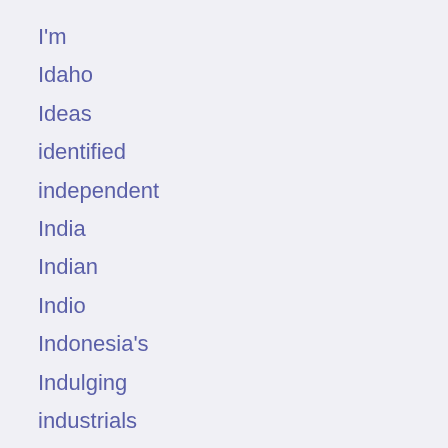I'm
Idaho
Ideas
identified
independent
India
Indian
Indio
Indonesia's
Indulging
industrials
infighting
Influencer